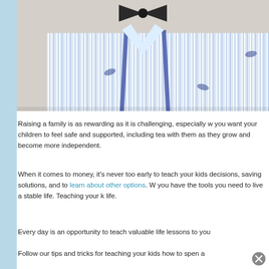[Figure (photo): Photo of a child wearing a striped blue and white shirt with whale embroidery, suspenders, and a dark bow tie. The photo is cropped showing the torso/chest area.]
Raising a family is as rewarding as it is challenging, especially w... you want your children to feel safe and supported, including tea... with them as they grow and become more independent.
When it comes to money, it's never too early to teach your kids ... decisions, saving solutions, and to learn about other options. W... you have the tools you need to live a stable life. Teaching your k... life.
Every day is an opportunity to teach valuable life lessons to you...
Follow our tips and tricks for teaching your kids how to spen a...